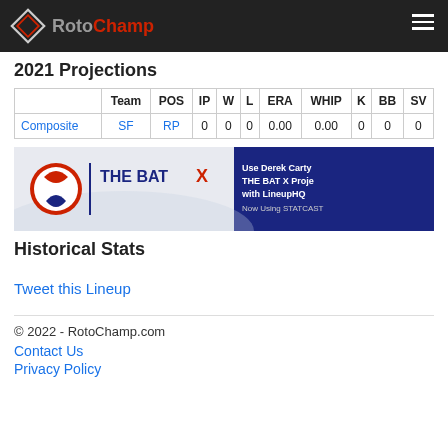RotoChamp
2021 Projections
|  | Team | POS | IP | W | L | ERA | WHIP | K | BB | SV |
| --- | --- | --- | --- | --- | --- | --- | --- | --- | --- | --- |
| Composite | SF | RP | 0 | 0 | 0 | 0.00 | 0.00 | 0 | 0 | 0 |
[Figure (infographic): THE BAT X advertisement banner. Shows THE BAT X logo on left and text on right: 'Use Derek Carty THE BAT X Projections with LineupHQ Now Using STATCAST']
Historical Stats
Tweet this Lineup
© 2022 - RotoChamp.com
Contact Us
Privacy Policy